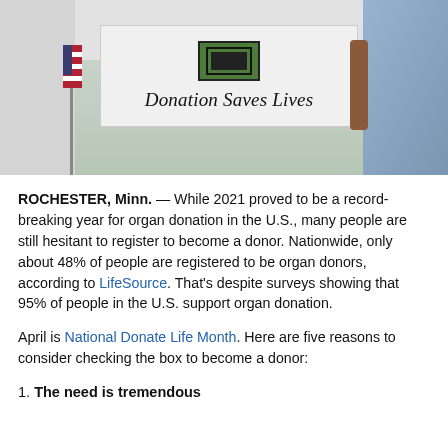[Figure (photo): Photo showing a person in a blue uniform holding or standing near a white banner that reads 'Donation Saves Lives' with a green/black logo above, and an American flag on the left side.]
ROCHESTER, Minn.  — While 2021 proved to be a record-breaking year for organ donation in the U.S., many people are still hesitant to register to become a donor. Nationwide, only about 48% of people are registered to be organ donors, according to LifeSource. That's despite surveys showing that 95% of people in the U.S. support organ donation.
April is National Donate Life Month. Here are five reasons to consider checking the box to become a donor:
1. The need is tremendous